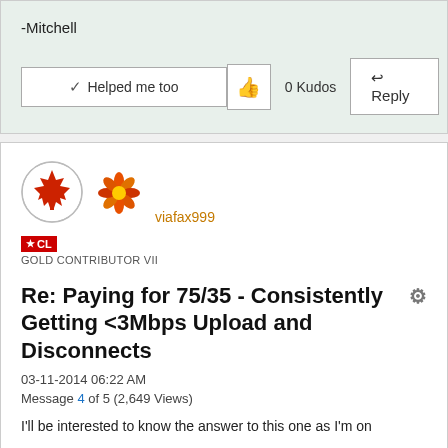-Mitchell
✓ Helped me too
0 Kudos
Reply
[Figure (illustration): Canadian maple leaf avatar icon with circular border]
[Figure (illustration): Flower/hibiscus emoji avatar icon]
viafax999
★ CL
GOLD CONTRIBUTOR VII
Re: Paying for 75/35 - Consistently Getting <3Mbps Upload and Disconnects
03-11-2014 06:22 AM
Message 4 of 5 (2,649 Views)
I'll be interested to know the answer to this one as I'm on